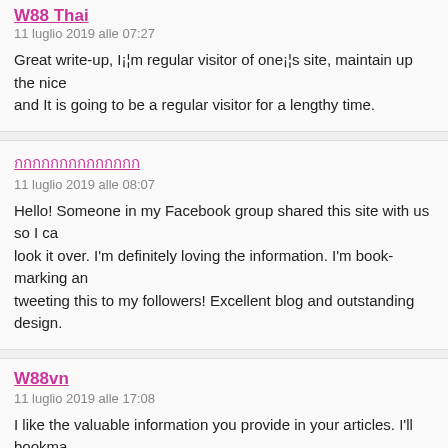W88 Thai (partial, cut off at top)
11 luglio 2019 alle 07:27
Great write-up, I¡¦m regular visitor of one¡¦s site, maintain up the nice work, and It is going to be a regular visitor for a lengthy time.
ทดสอบภาษาไทย (Thai characters link)
11 luglio 2019 alle 08:07
Hello! Someone in my Facebook group shared this site with us so I came to look it over. I'm definitely loving the information. I'm book-marking and tweeting this to my followers! Excellent blog and outstanding design.
W88vn
11 luglio 2019 alle 17:08
I like the valuable information you provide in your articles. I'll bookmark your weblog and check again here regularly. I'm quite certain I'll learn many new stuff right here! Best of luck for the next!
W88 Thailand
11 luglio 2019 alle 17:12